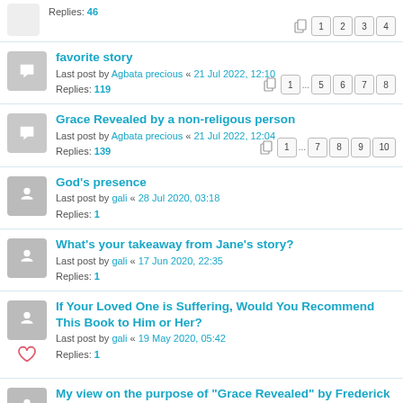Replies: 46  [pages 1 2 3 4]
favorite story
Last post by Agbata precious « 21 Jul 2022, 12:10
Replies: 119  [pages 1 ... 5 6 7 8]
Grace Revealed by a non-religous person
Last post by Agbata precious « 21 Jul 2022, 12:04
Replies: 139  [pages 1 ... 7 8 9 10]
God's presence
Last post by gali « 28 Jul 2020, 03:18
Replies: 1
What's your takeaway from Jane's story?
Last post by gali « 17 Jun 2020, 22:35
Replies: 1
If Your Loved One is Suffering, Would You Recommend This Book to Him or Her?
Last post by gali « 19 May 2020, 05:42
Replies: 1
My view on the purpose of "Grace Revealed" by Frederick J. Sievert